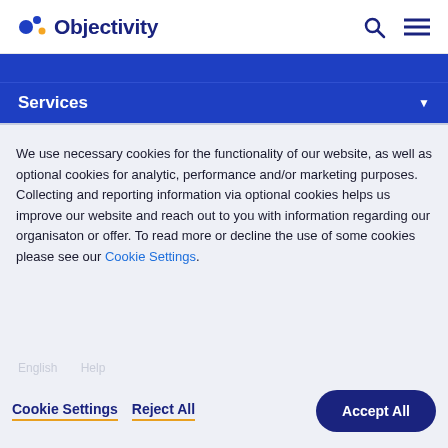[Figure (logo): Objectivity company logo with colorful dots and dark blue text]
Services
We use necessary cookies for the functionality of our website, as well as optional cookies for analytic, performance and/or marketing purposes. Collecting and reporting information via optional cookies helps us improve our website and reach out to you with information regarding our organisaton or offer. To read more or decline the use of some cookies please see our Cookie Settings.
Cookie Settings   Reject All   Accept All